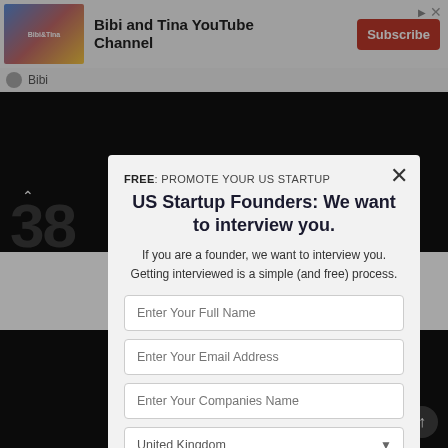[Figure (screenshot): Ad banner for Bibi and Tina YouTube Channel with thumbnail image and Subscribe button]
Bibi
[Figure (screenshot): Dark video player area showing partially visible text about Iowa State Bank community bank]
FREE: PROMOTE YOUR US STARTUP
US Startup Founders: We want to interview you.
If you are a founder, we want to interview you. Getting interviewed is a simple (and free) process.
Enter Your Full Name
Enter Your Email Address
Enter Your Companies Name
United Kingdom